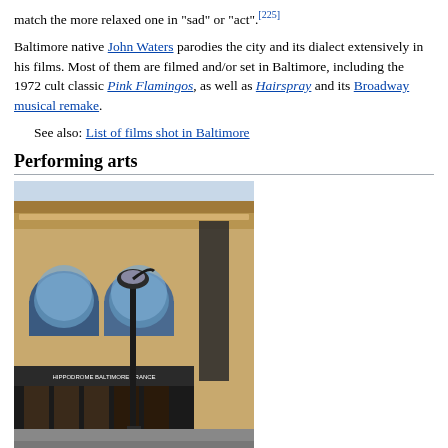match the more relaxed one in "sad" or "act".[225]
Baltimore native John Waters parodies the city and its dialect extensively in his films. Most of them are filmed and/or set in Baltimore, including the 1972 cult classic Pink Flamingos, as well as Hairspray and its Broadway musical remake.
See also: List of films shot in Baltimore
Performing arts
[Figure (photo): Exterior facade of the Hippodrome Baltimore theater building, a classical beaux-arts style structure with arched windows and a street lamp in front.]
Hippodrome Baltimore
Baltimore has three state-designated arts and entertainment (A & E) districts. The Station North Arts and Entertainment District,